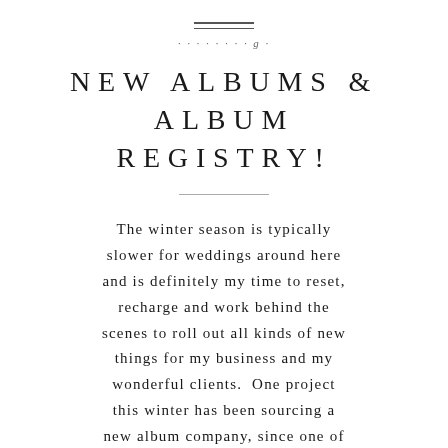[Figure (illustration): Decorative horizontal double lines divider]
· · · · · · · · g ·
NEW ALBUMS & ALBUM REGISTRY!
The winter season is typically slower for weddings around here and is definitely my time to reset, recharge and work behind the scenes to roll out all kinds of new things for my business and my wonderful clients. One project this winter has been sourcing a new album company, since one of